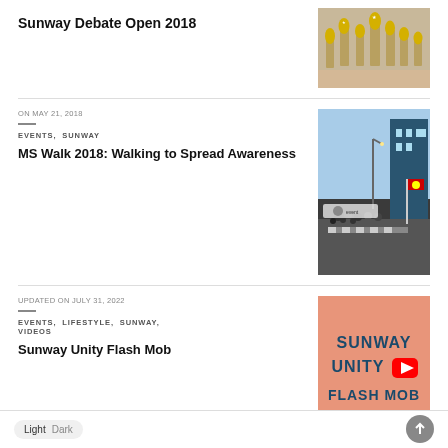Sunway Debate Open 2018
[Figure (photo): Trophy display table with multiple trophies]
ON MAY 21, 2018
EVENTS, SUNWAY
MS Walk 2018: Walking to Spread Awareness
[Figure (photo): Outdoor gathering with crowd and flags at night]
UPDATED ON JULY 31, 2022
EVENTS, LIFESTYLE, SUNWAY, VIDEOS
Sunway Unity Flash Mob
[Figure (illustration): Pink square graphic reading SUNWAY UNITY FLASH MOB with YouTube icon]
Light  Dark